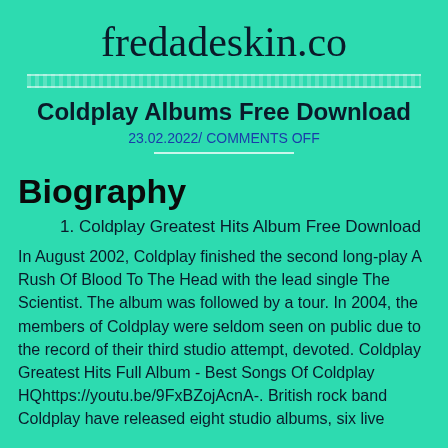fredadeskin.co
Coldplay Albums Free Download
23.02.2022/ COMMENTS OFF
Biography
1. Coldplay Greatest Hits Album Free Download
In August 2002, Coldplay finished the second long-play A Rush Of Blood To The Head with the lead single The Scientist. The album was followed by a tour. In 2004, the members of Coldplay were seldom seen on public due to the record of their third studio attempt, devoted. Coldplay Greatest Hits Full Album - Best Songs Of Coldplay HQhttps://youtu.be/9FxBZojAcnA-. British rock band Coldplay have released eight studio albums, six live